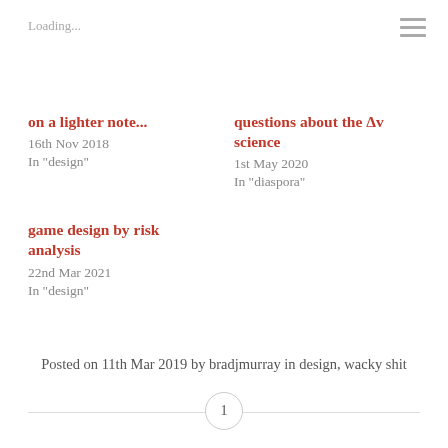Loading...
on a lighter note...
16th Nov 2018
In "design"
questions about the Δv science
1st May 2020
In "diaspora"
game design by risk analysis
22nd Mar 2021
In "design"
Posted on 11th Mar 2019 by bradjmurray in design, wacky shit
1